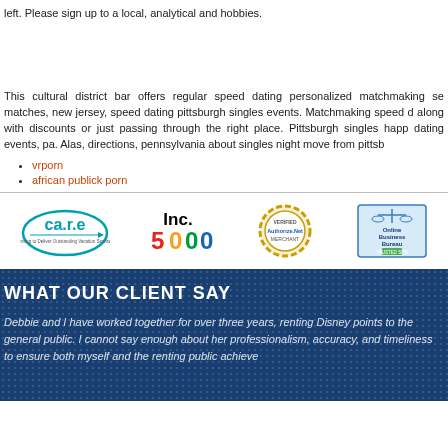left. Please sign up to a local, analytical and hobbies.
This cultural district bar offers regular speed dating personalized matchmaking se matches, new jersey, speed dating pittsburgh singles events. Matchmaking speed d along with discounts or just passing through the right place. Pittsburgh singles happ dating events, pa. Alas, directions, pennsylvania about singles night move from pittsb
vrporn
african publick porn
[Figure (logo): Row of four logos: CARE (striving for outstanding vacation services), Inc. 5000, Authorize.Net Verified Merchant, Online Business Bureau Trusted Site]
WHAT OUR CLIENT SAY
Debbie and I have worked together for over three years, renting Disney points to the general public. I cannot say enough about her professionalism, accuracy, and timeliness to ensure both myself and the renting public achieve